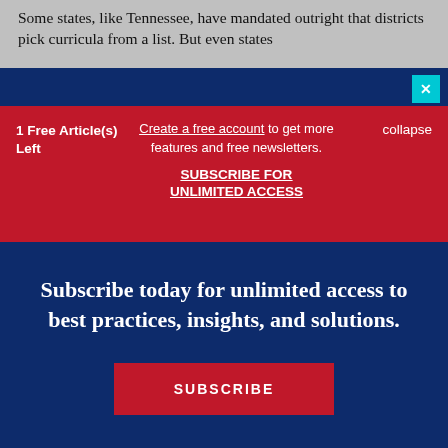Some states, like Tennessee, have mandated outright that districts pick curricula from a list. But even states
1 Free Article(s) Left
Create a free account to get more features and free newsletters. SUBSCRIBE FOR UNLIMITED ACCESS
collapse
Subscribe today for unlimited access to best practices, insights, and solutions.
SUBSCRIBE